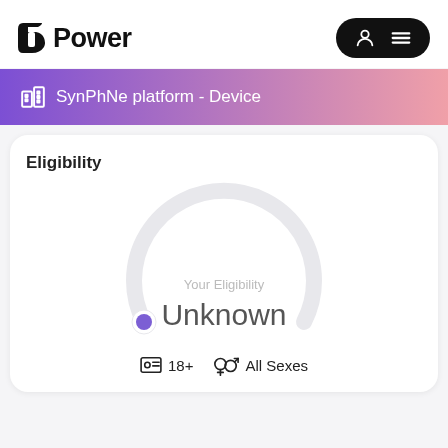Power
SynPhNe platform - Device
Eligibility
[Figure (infographic): A circular gauge/dial showing eligibility status. The arc is light grey, with a small purple filled circle at the bottom-left end of the arc. Center text reads 'Your Eligibility' (grey, small) and 'Unknown' (large, dark).]
18+   All Sexes